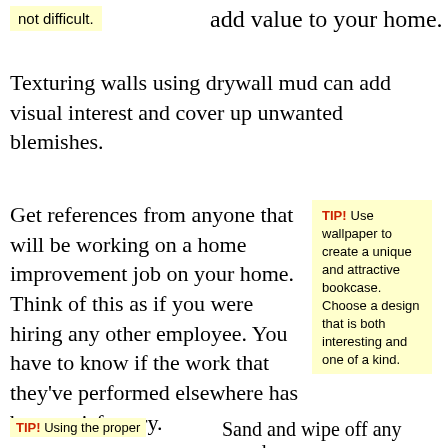not difficult.
add value to your home.
Texturing walls using drywall mud can add visual interest and cover up unwanted blemishes.
Get references from anyone that will be working on a home improvement job on your home. Think of this as if you were hiring any other employee. You have to know if the work that they've performed elsewhere has been satisfactory.
TIP! Use wallpaper to create a unique and attractive bookcase. Choose a design that is both interesting and one of a kind.
TIP! Using the proper
Sand and wipe off any wood